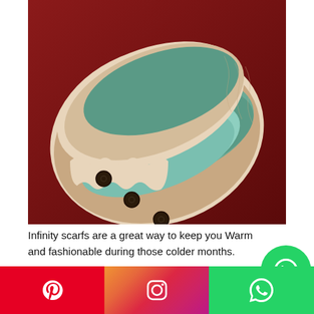[Figure (photo): A crocheted infinity scarf with teal/mint and cream/beige stripes, featuring cable-knit texture and dark brown buttons along one edge, laid flat on a dark red fabric background.]
Infinity scarfs are a great way to keep you Warm and fashionable during those colder months.
[Figure (infographic): Social media share bar at the bottom with Pinterest (red), Instagram (gradient), and WhatsApp (green) icons. Also a floating WhatsApp bubble icon in the lower right.]